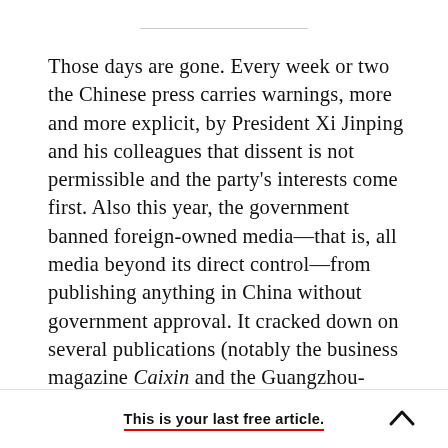Those days are gone. Every week or two the Chinese press carries warnings, more and more explicit, by President Xi Jinping and his colleagues that dissent is not permissible and the party's interests come first. Also this year, the government banned foreign-owned media—that is, all media beyond its direct control—from publishing anything in China without government approval. It cracked down on several publications (notably the business magazine Caixin and the Guangzhou-based newspaper Southern Weekend) that for years
This is your last free article.